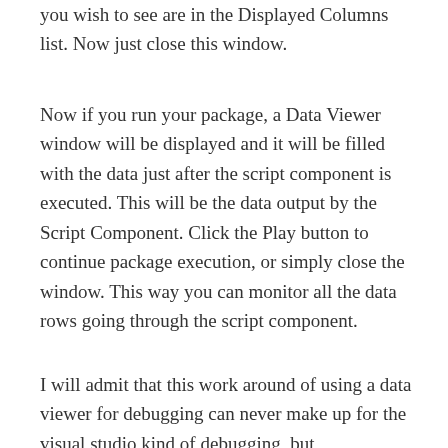you wish to see are in the Displayed Columns list. Now just close this window.
Now if you run your package, a Data Viewer window will be displayed and it will be filled with the data just after the script component is executed. This will be the data output by the Script Component. Click the Play button to continue package execution, or simply close the window. This way you can monitor all the data rows going through the script component.
I will admit that this work around of using a data viewer for debugging can never make up for the visual studio kind of debugging, but